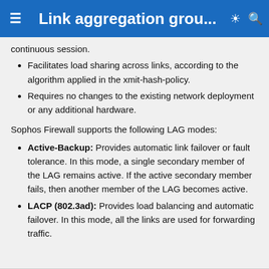Link aggregation grou...
continuous session.
Facilitates load sharing across links, according to the algorithm applied in the xmit-hash-policy.
Requires no changes to the existing network deployment or any additional hardware.
Sophos Firewall supports the following LAG modes:
Active-Backup: Provides automatic link failover or fault tolerance. In this mode, a single secondary member of the LAG remains active. If the active secondary member fails, then another member of the LAG becomes active.
LACP (802.3ad): Provides load balancing and automatic failover. In this mode, all the links are used for forwarding traffic.